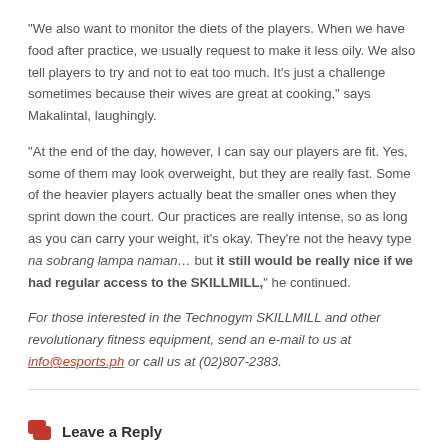“We also want to monitor the diets of the players. When we have food after practice, we usually request to make it less oily. We also tell players to try and not to eat too much. It’s just a challenge sometimes because their wives are great at cooking,” says Makalintal, laughingly.
“At the end of the day, however, I can say our players are fit. Yes, some of them may look overweight, but they are really fast. Some of the heavier players actually beat the smaller ones when they sprint down the court. Our practices are really intense, so as long as you can carry your weight, it’s okay. They’re not the heavy type na sobrang lampa naman… but it still would be really nice if we had regular access to the SKILLMILL,” he continued.
For those interested in the Technogym SKILLMILL and other revolutionary fitness equipment, send an e-mail to us at info@esports.ph or call us at (02)807-2383.
Leave a Reply